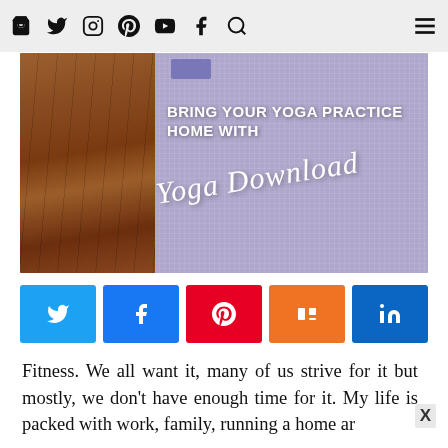Icons: bag, twitter, instagram, pinterest, youtube, facebook, search, hamburger menu
[Figure (photo): Hero image showing a yoga mat (purple/lavender textured) on a wood floor, with yoga block visible at top, overlaid with bold white uppercase text 'BRING YOUR YOGA PRACTICE HOME WITH' and cursive script text 'Yoga Download']
[Figure (infographic): Row of five social share buttons: Twitter (blue), Facebook (blue), Pinterest (red), Mix (orange), LinkedIn (dark blue)]
Fitness. We all want it, many of us strive for it but mostly, we don't have enough time for it. My life is packed with work, family, running a home ar